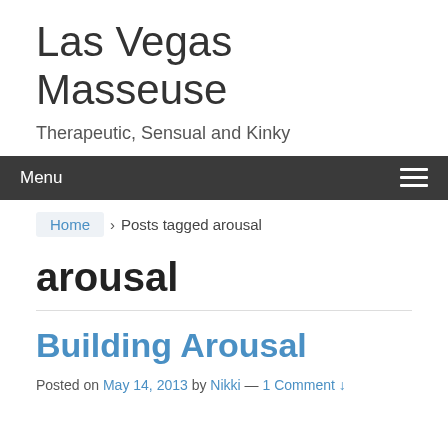Las Vegas Masseuse
Therapeutic, Sensual and Kinky
Menu
Home › Posts tagged arousal
arousal
Building Arousal
Posted on May 14, 2013 by Nikki — 1 Comment ↓